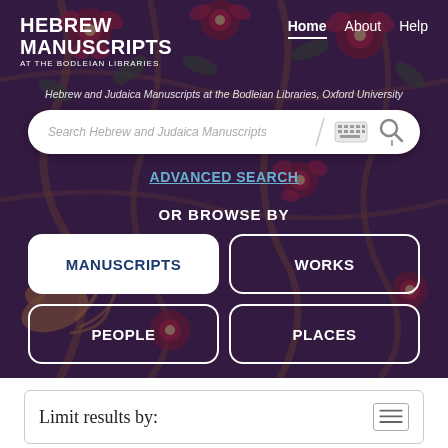[Figure (screenshot): Hebrew Manuscripts at the Bodleian Libraries website screenshot showing hero banner with dark floral background, navigation bar, search box, and browse buttons]
HEBREW MANUSCRIPTS AT THE BODLEIAN LIBRARIES
Home   About   Help
Hebrew and Judaica Manuscripts at the Bodleian Libraries, Oxford University
Search Hebrew and Judaica Manuscripts
ADVANCED SEARCH
OR BROWSE BY
MANUSCRIPTS
WORKS
PEOPLE
PLACES
Limit results by: